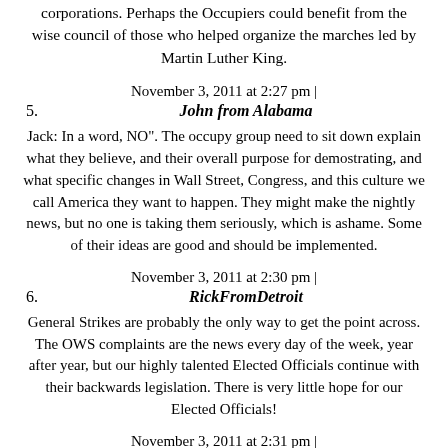corporations. Perhaps the Occupiers could benefit from the wise council of those who helped organize the marches led by Martin Luther King.
November 3, 2011 at 2:27 pm |
5. John from Alabama
Jack: In a word, NO". The occupy group need to sit down explain what they believe, and their overall purpose for demostrating, and what specific changes in Wall Street, Congress, and this culture we call America they want to happen. They might make the nightly news, but no one is taking them seriously, which is ashame. Some of their ideas are good and should be implemented.
November 3, 2011 at 2:30 pm |
6. RickFromDetroit
General Strikes are probably the only way to get the point across. The OWS complaints are the news every day of the week, year after year, but our highly talented Elected Officials continue with their backwards legislation. There is very little hope for our Elected Officials!
November 3, 2011 at 2:31 pm |